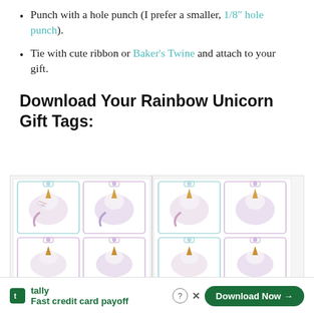Punch with a hole punch (I prefer a smaller, 1/8" hole punch).
Tie with cute ribbon or Baker's Twine and attach to your gift.
Download Your Rainbow Unicorn Gift Tags:
[Figure (illustration): A grid of printable rainbow unicorn gift tags showing unicorn head illustrations in pastel colors (pink, teal, purple) on white tag-shaped backgrounds, arranged in two sheets side by side]
tally Fast credit card payoff Download Now →